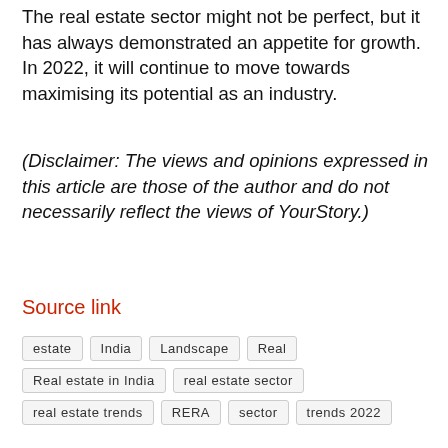The real estate sector might not be perfect, but it has always demonstrated an appetite for growth. In 2022, it will continue to move towards maximising its potential as an industry.
(Disclaimer: The views and opinions expressed in this article are those of the author and do not necessarily reflect the views of YourStory.)
Source link
estate
India
Landscape
Real
Real estate in India
real estate sector
real estate trends
RERA
sector
trends 2022